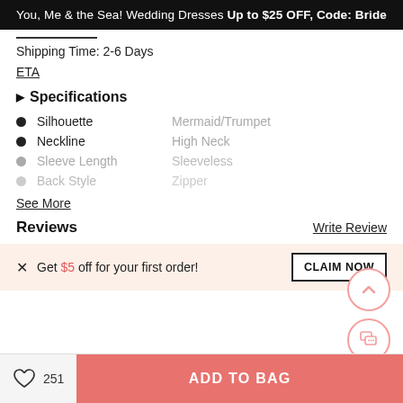You, Me & the Sea! Wedding Dresses Up to $25 OFF, Code: Bride
Shipping Time: 2-6 Days
ETA
▶ Specifications
Silhouette — Mermaid/Trumpet
Neckline — High Neck
Sleeve Length — Sleeveless
Back Style — Zipper
See More
Reviews
Write Review
× Get $5 off for your first order!
CLAIM NOW
♡ 251   ADD TO BAG